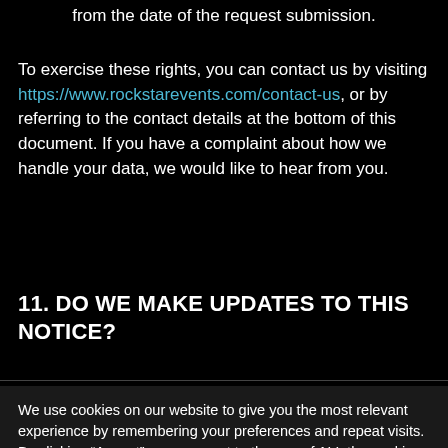from the date of the request submission.
To exercise these rights, you can contact us by visiting https://www.rockstarevents.com/contact-us, or by referring to the contact details at the bottom of this document. If you have a complaint about how we handle your data, we would like to hear from you.
11. DO WE MAKE UPDATES TO THIS NOTICE?
We use cookies on our website to give you the most relevant experience by remembering your preferences and repeat visits. By clicking “Accept”, you consent to the use of ALL the cookies.